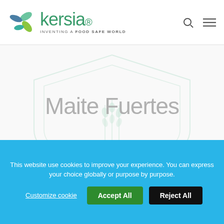[Figure (logo): Kersia logo with colorful leaf/butterfly icon and tagline INVENTING A FOOD SAFE WORLD]
[Figure (illustration): Light gray shield/wheat watermark background image]
Maite Fuertes
Nothing Found
This website use cookies to improve your experience. You can express your choice globally or purpose by purpose.
Customize cookie   Accept All   Reject All